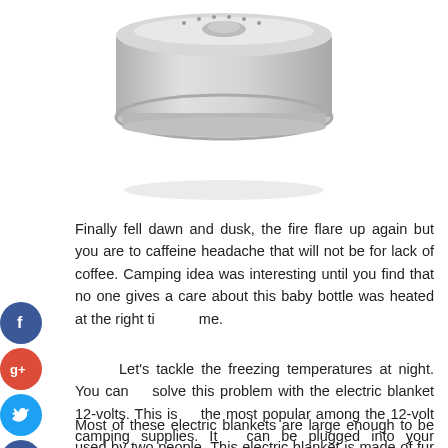[Figure (photo): A silver/chrome circular camping stove or cooking device viewed from above, with a round metallic body and small ventilation holes around the rim.]
Finally fell dawn and dusk, the fire flare up again but you are to caffeine headache that will not be for lack of coffee. Camping idea was interesting until you find that no one gives a care about this baby bottle was heated at the right time.
Let's tackle the freezing temperatures at night. You can solve this problem with the electric blanket 12-volts. This is the most popular among the 12-volt camping supplies. It can be plugged into your vehicle's lighter and used.
Most of these electric blankets are large enough to be used by two people. This electric blanket is made of fur and they